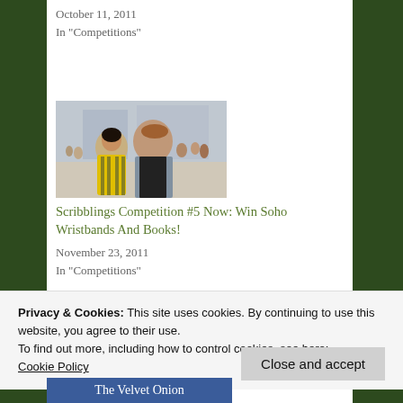October 11, 2011
In "Competitions"
[Figure (photo): Two people standing together outdoors in an urban setting; a woman in a yellow striped jacket and a man in a black t-shirt and grey shirt, looking upward.]
Scribblings Competition #5 Now: Win Soho Wristbands And Books!
November 23, 2011
In "Competitions"
Privacy & Cookies: This site uses cookies. By continuing to use this website, you agree to their use.
To find out more, including how to control cookies, see here:
Cookie Policy
Close and accept
The Velvet Onion